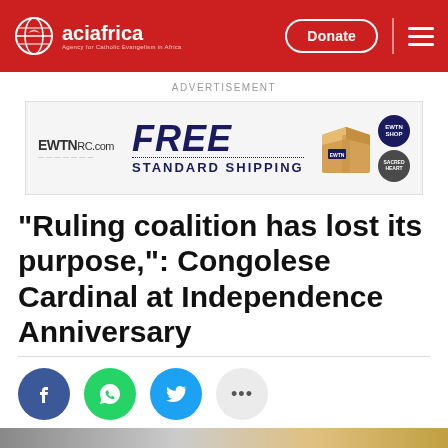aciafrica | Donate
[Figure (screenshot): Advertisement banner: EWTNRC.com FREE STANDARD SHIPPING with a cardboard box image and EWTN/Sacred Heart logos]
“Ruling coalition has lost its purpose,”: Congolese Cardinal at Independence Anniversary
[Figure (infographic): Social sharing buttons: Facebook (blue circle), WhatsApp (green circle), Twitter (blue circle), More options (grey circle with ellipsis)]
[Figure (photo): Bottom image strip partially visible]